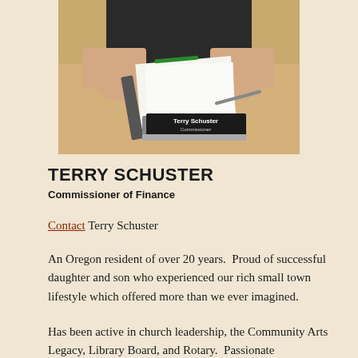[Figure (photo): Photo of Terry Schuster at a desk with papers and a name plate reading 'Terry Schuster Commissioner']
TERRY SCHUSTER
Commissioner of Finance
Contact Terry Schuster
An Oregon resident of over 20 years.  Proud of successful daughter and son who experienced our rich small town lifestyle which offered more than we ever imagined.
Has been active in church leadership, the Community Arts Legacy, Library Board, and Rotary.  Passionate